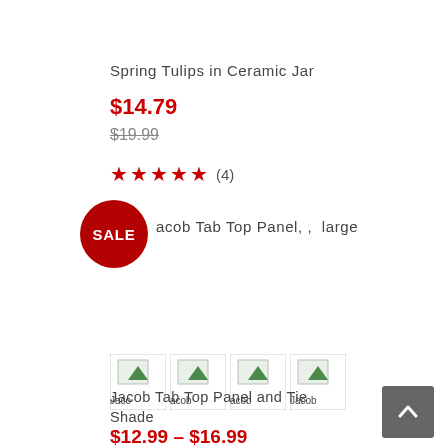Spring Tulips in Ceramic Jar
$14.79
$19.99
★★★★★ (4)
[Figure (other): Red SALE badge circle]
acob Tab Top Panel, , large
[Figure (other): Four broken image thumbnails showing Jacob color swatches]
Jacoacob Jacob Tab Top Panel and Tie Shade
$12.99 – $16.99
$15.99 – $27.99
[Figure (other): Gray scroll-to-top button with up arrow]